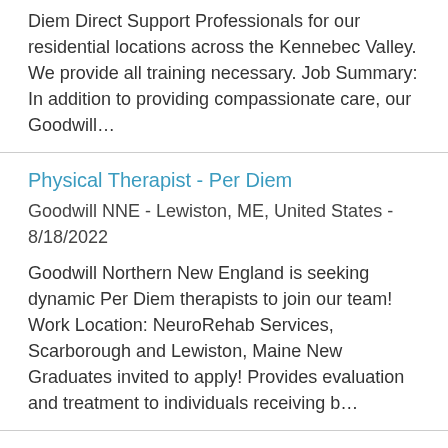Diem Direct Support Professionals for our residential locations across the Kennebec Valley. We provide all training necessary. Job Summary: In addition to providing compassionate care, our Goodwill…
Physical Therapist - Per Diem
Goodwill NNE - Lewiston, ME, United States - 8/18/2022
Goodwill Northern New England is seeking dynamic Per Diem therapists to join our team! Work Location: NeuroRehab Services, Scarborough and Lewiston, Maine New Graduates invited to apply! Provides evaluation and treatment to individuals receiving b…
Warehouse Inventory Processing Supervisor
Goodwill NNE - Gorham, ME, United States - 8/16/2022